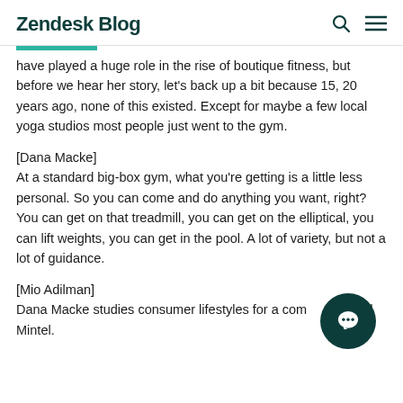Zendesk Blog
have played a huge role in the rise of boutique fitness, but before we hear her story, let's back up a bit because 15, 20 years ago, none of this existed. Except for maybe a few local yoga studios most people just went to the gym.
[Dana Macke]
At a standard big-box gym, what you're getting is a little less personal. So you can come and do anything you want, right? You can get on that treadmill, you can get on the elliptical, you can lift weights, you can get in the pool. A lot of variety, but not a lot of guidance.
[Mio Adilman]
Dana Macke studies consumer lifestyles for a company called Mintel.